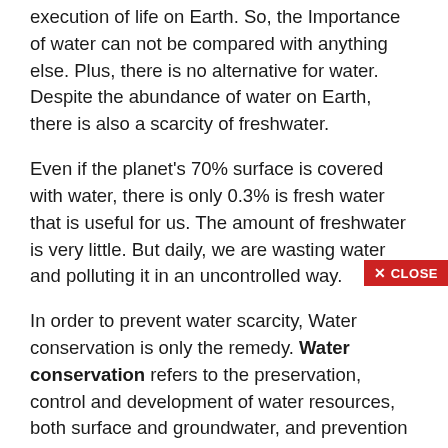execution of life on Earth. So, the Importance of water can not be compared with anything else. Plus, there is no alternative for water. Despite the abundance of water on Earth, there is also a scarcity of freshwater.
Even if the planet's 70% surface is covered with water, there is only 0.3% is fresh water that is useful for us. The amount of freshwater is very little. But daily, we are wasting water and polluting it in an uncontrolled way.
In order to prevent water scarcity, Water conservation is only the remedy. Water conservation refers to the preservation, control and development of water resources, both surface and groundwater, and prevention of wa...